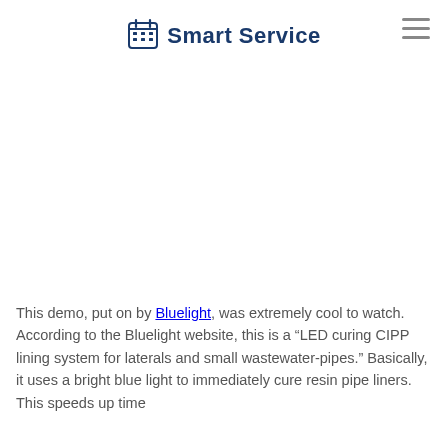Smart Service
[Figure (screenshot): Embedded video player area (blank/white) below the Smart Service header]
This demo, put on by Bluelight, was extremely cool to watch. According to the Bluelight website, this is a "LED curing CIPP lining system for laterals and small wastewater-pipes." Basically, it uses a bright blue light to immediately cure resin pipe liners. This speeds up time